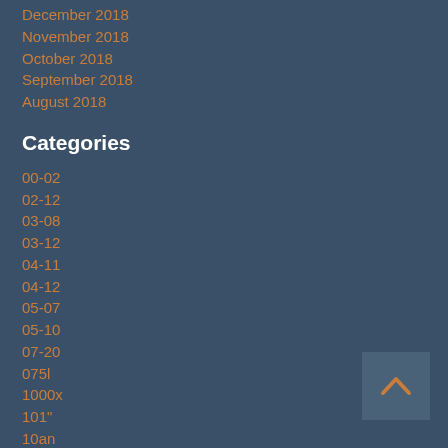December 2018
November 2018
October 2018
September 2018
August 2018
Categories
00-02
02-12
03-08
03-12
04-11
04-12
05-07
05-10
07-20
075l
1000x
101"
10an
10mm
10pcs
11-15
11-16
11-18
11-19